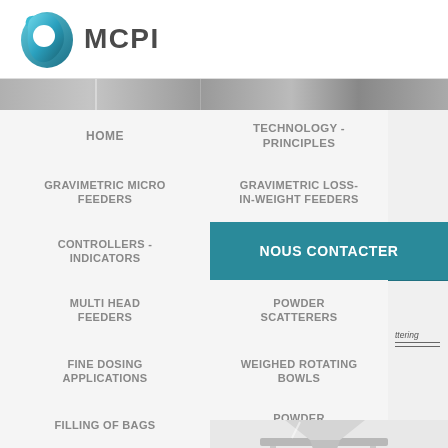[Figure (logo): MCPI logo - teal/blue teardrop shape with white circle cutout, followed by bold MCPI text]
[Figure (photo): Grayscale banner photo strip showing industrial equipment/machinery]
HOME
TECHNOLOGY - PRINCIPLES
GRAVIMETRIC MICRO FEEDERS
GRAVIMETRIC LOSS-IN-WEIGHT FEEDERS
CONTROLLERS - INDICATORS
NOUS CONTACTER
MULTI HEAD FEEDERS
POWDER SCATTERERS
FINE DOSING APPLICATIONS
WEIGHED ROTATING BOWLS
FILLING OF BAGS
POWDER SPRINKLERS
DOWNLOAD
[Figure (photo): Photo of industrial powder sprinkler/funnel equipment, metallic stainless steel, bottom right of page]